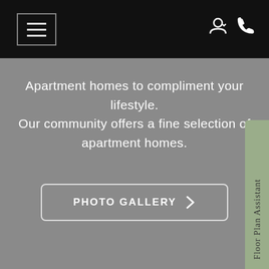Navigation bar with hamburger menu and account/phone icons
Apartment homes to compliment your lifestyle. Our community offers a fine selection of apartment homes.
[Figure (screenshot): PHOTO GALLERY button with right arrow chevron, white outlined rounded rectangle on gray background]
[Figure (other): Floor Plan Assistant vertical tab on right side, olive/sage green background]
Located conveniently in Charlotte, NC
[Figure (other): Blue accessibility icon circle (person with arms out) bottom left]
[Figure (other): Olive green circle with concierge bell icon bottom right]